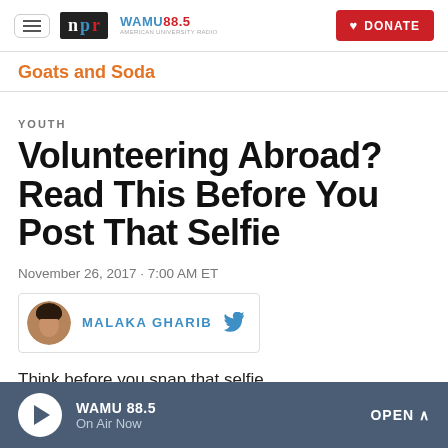NPR | WAMU 88.5 | DONATE
Goats and Soda
YOUTH
Volunteering Abroad? Read This Before You Post That Selfie
November 26, 2017 · 7:00 AM ET
MALAKA GHARIB
Think before you snap that selfie.
WAMU 88.5 | On Air Now | OPEN